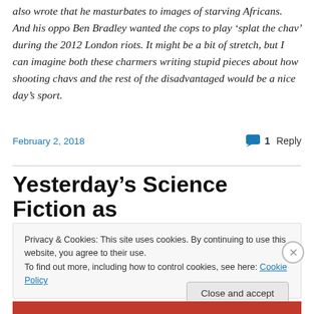also wrote that he masturbates to images of starving Africans. And his oppo Ben Bradley wanted the cops to play ‘splat the chav’ during the 2012 London riots. It might be a bit of stretch, but I can imagine both these charmers writing stupid pieces about how shooting chavs and the rest of the disadvantaged would be a nice day’s sport.
February 2, 2018
1 Reply
Yesterday’s Science Fiction as
Privacy & Cookies: This site uses cookies. By continuing to use this website, you agree to their use.
To find out more, including how to control cookies, see here: Cookie Policy
Close and accept